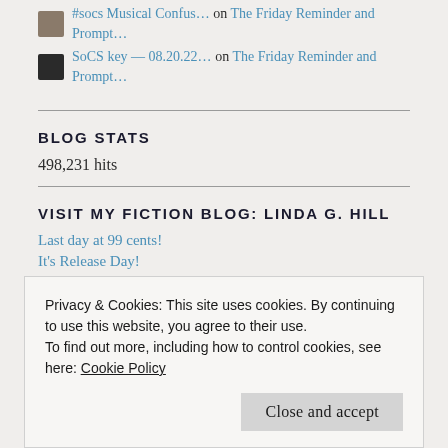#socs Musical Confus… on The Friday Reminder and Prompt…
SoCS key — 08.20.22… on The Friday Reminder and Prompt…
BLOG STATS
498,231 hits
VISIT MY FICTION BLOG: LINDA G. HILL
Last day at 99 cents!
It's Release Day!
Privacy & Cookies: This site uses cookies. By continuing to use this website, you agree to their use.
To find out more, including how to control cookies, see here: Cookie Policy
Close and accept